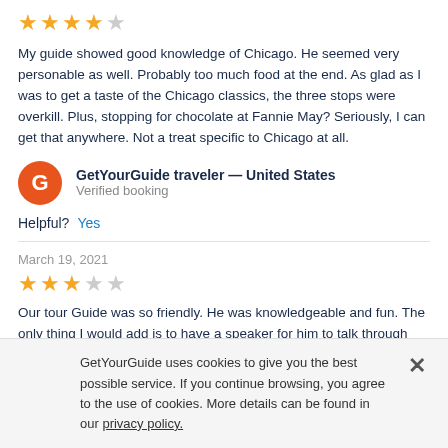[Figure (other): 4 out of 5 stars rating (4 filled gold stars, 1 empty gray star)]
My guide showed good knowledge of Chicago. He seemed very personable as well. Probably too much food at the end. As glad as I was to get a taste of the Chicago classics, the three stops were overkill. Plus, stopping for chocolate at Fannie May? Seriously, I can get that anywhere. Not a treat specific to Chicago at all.
GetYourGuide traveler — United States
Verified booking
Helpful? Yes
March 19, 2021
[Figure (other): 3 out of 5 stars rating (3 filled gold stars, 2 empty gray stars)]
Our tour Guide was so friendly. He was knowledgeable and fun. The only thing I would add is to have a speaker for him to talk through
GetYourGuide uses cookies to give you the best possible service. If you continue browsing, you agree to the use of cookies. More details can be found in our privacy policy.